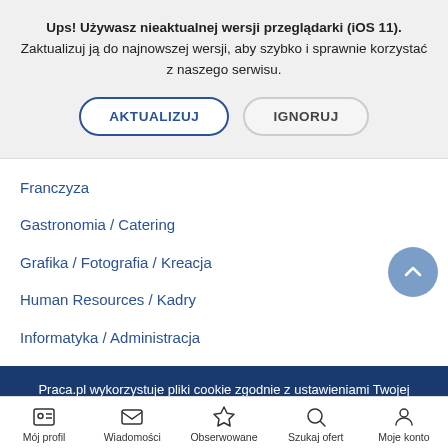Ups! Używasz nieaktualnej wersji przeglądarki (iOS 11). Zaktualizuj ją do najnowszej wersji, aby szybko i sprawnie korzystać z naszego serwisu.
AKTUALIZUJ
IGNORUJ
Franczyza
Gastronomia / Catering
Grafika / Fotografia / Kreacja
Human Resources / Kadry
Informatyka / Administracja
Praca.pl wykorzystuje pliki cookie zgodnie z ustawieniami Twojej przeglądarki internetowej. Szczegółowe informacje na temat cookie znajdziesz w polityce prywatności. Zamknij
Mój profil | Wiadomości | Obserwowane | Szukaj ofert | Moje konto